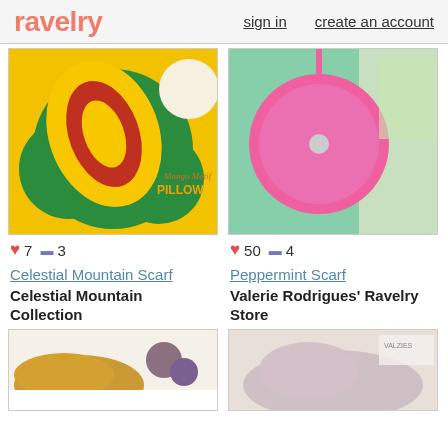ravelry   sign in   create an account
[Figure (photo): Crochet Mango Motif Pillow - yellow and red paisley shaped crochet pillow on green and white circular background with text 'Mango Motif PILLOW']
[Figure (photo): Pink crocheted round crossbody bag with button closure, placed on dark surface with green plants in background]
♥ 7  🔖 3
♥ 50  🔖 4
Celestial Mountain Scarf
Peppermint Scarf
Celestial Mountain Collection
Valerie Rodrigues' Ravelry Store
[Figure (photo): Golden/amber colored lace knit scarf with pine cones on white background]
[Figure (photo): Pink/multi colored crochet scarf worn by a mannequin, with VALZIES logo visible]